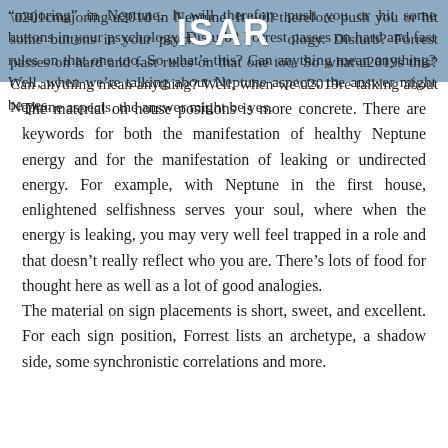“majoring” in Neptune. It will therefore push you or hit some buttons in your psychology. Disturb? Forrest passes on hard and fast rules on that one too. So what’s this? Can anything mean anything? Well, when we’re talking about Neptune aspects, the answer might be yes.
The material on house positions is more concrete. There are keywords for both the manifestation of healthy Neptune energy and for the manifestation of leaking or undirected energy. For example, with Neptune in the first house, enlightened selfishness serves your soul, where when the energy is leaking, you may very well feel trapped in a role and that doesn’t really reflect who you are. There’s lots of food for thought here as well as a lot of good analogies.
The material on sign placements is short, sweet, and excellent. For each sign position, Forrest lists an archetype, a shadow side, some synchronistic correlations and more.